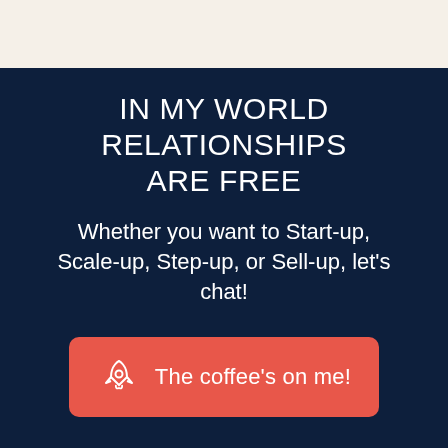IN MY WORLD RELATIONSHIPS ARE FREE
Whether you want to Start-up, Scale-up, Step-up, or Sell-up, let's chat!
[Figure (illustration): Red rounded rectangle button with rocket icon and text 'The coffee's on me!']